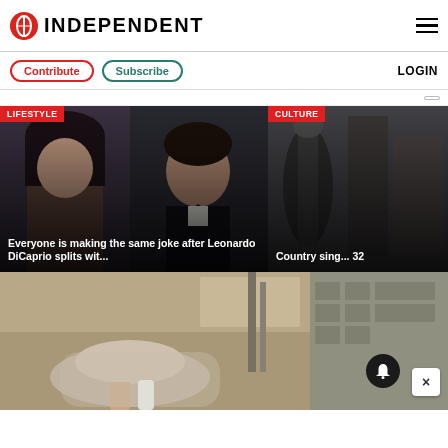INDEPENDENT
Contribute  Subscribe  LOGIN
[Figure (screenshot): Article card with LIFESTYLE badge showing Leonardo DiCaprio and a woman. Headline: Everyone is making the same joke after Leonardo DiCaprio splits wit...]
[Figure (screenshot): Article card with CULTURE badge showing a microphone or instrument. Headline: Country sing... 32]
[Figure (photo): Bottom image showing a person holding a dusty hat or rock-like object with machinery in background. Notification bell and close button visible.]